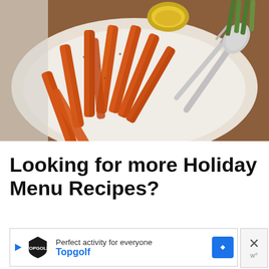[Figure (photo): Roasted carrots on a white serving plate with a silver fork and spoon. The carrots are sliced lengthwise and appear caramelized/glazed with seasoning. A wooden table surface is visible in the background.]
Looking for more Holiday Menu Recipes?
Perfect activity for everyone  Topgolf